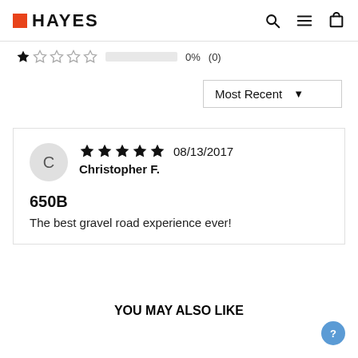[Figure (logo): Hayes brand logo with orange square and bold HAYES text]
[Figure (infographic): 1-star rating row showing 0% (0) reviews with empty progress bar]
[Figure (infographic): Most Recent sort dropdown selector]
C  ★★★★★  08/13/2017
Christopher F.
650B
The best gravel road experience ever!
YOU MAY ALSO LIKE